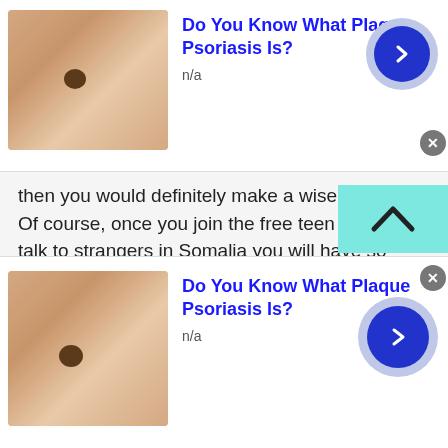[Figure (other): Top advertisement banner for 'Do You Know What Plaque Psoriasis Is?' with skin/mole image, blue title, n/a subtitle, and blue arrow button]
then you would definitely make a wise decision. Of course, once you join the free teen chat and talk to strangers in Somalia you will have so many benefits to avail without any hassle or restrictions. Believe it or not, it's quite easy and simple to join TWS as you only need a smartphone and internet connection.
Well, could you ever imagine teen chat can be this much simple and easy? If not then still you have a choice to choose an online platform where you can freely talk to strangers online.
[Figure (other): Bottom advertisement banner for 'Do You Know What Plaque Psoriasis Is?' with skin/mole image, blue title, n/a subtitle, and blue arrow button]